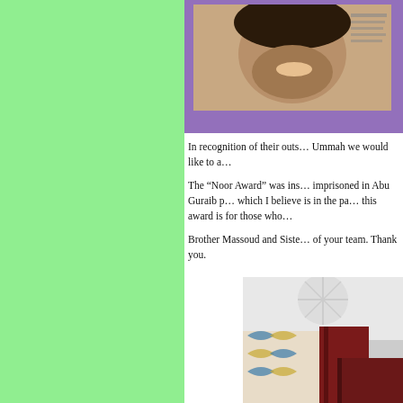[Figure (photo): Photo of a woman smiling, shown against a purple/mauve background, cropped at top of page]
In recognition of their outstanding contributions to the Ummah we would like to a…

The “Noor Award” was ins… imprisoned in Abu Guraib p… which I believe is in the pa… this award is for those who…

Brother Massoud and Siste… of your team. Thank you.
[Figure (photo): Photo showing decorative tiles and a dark red/maroon book or folder against a white textured background]